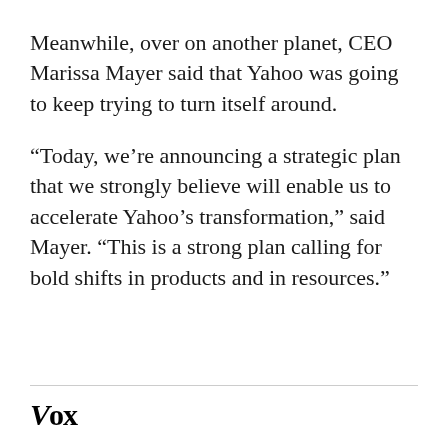Meanwhile, over on another planet, CEO Marissa Mayer said that Yahoo was going to keep trying to turn itself around.
“Today, we’re announcing a strategic plan that we strongly believe will enable us to accelerate Yahoo’s transformation,” said Mayer. “This is a strong plan calling for bold shifts in products and in resources.”
Vox